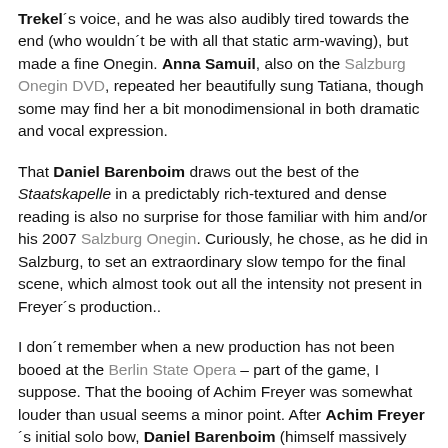Trekel's voice, and he was also audibly tired towards the end (who wouldn't be with all that static arm-waving), but made a fine Onegin. Anna Samuil, also on the Salzburg Onegin DVD, repeated her beautifully sung Tatiana, though some may find her a bit monodimensional in both dramatic and vocal expression.
That Daniel Barenboim draws out the best of the Staatskapelle in a predictably rich-textured and dense reading is also no surprise for those familiar with him and/or his 2007 Salzburg Onegin. Curiously, he chose, as he did in Salzburg, to set an extraordinary slow tempo for the final scene, which almost took out all the intensity not present in Freyer's production..
I don't remember when a new production has not been booed at the Berlin State Opera – part of the game, I suppose. That the booing of Achim Freyer was somewhat louder than usual seems a minor point. After Achim Freyer's initial solo bow, Daniel Barenboim (himself massively applauded) joined Freyer for his next solo bows, a rather nice way to show his support for the production, not that